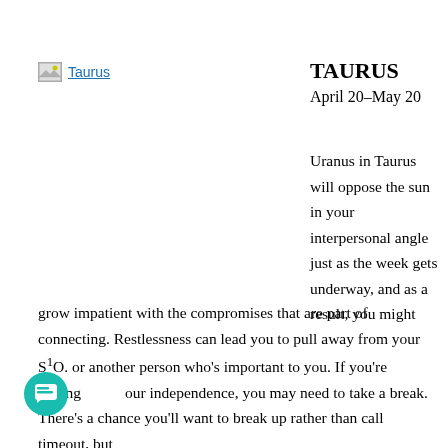[Figure (illustration): Broken image placeholder icon with label 'Taurus' in blue underlined text]
TAURUS
April 20–May 20
Uranus in Taurus will oppose the sun in your interpersonal angle just as the week gets underway, and as a result, you might grow impatient with the compromises that are part of connecting. Restlessness can lead you to pull away from your S1O. or another person who’s important to you. If you’re itching our independence, you may need to take a break. There’s a chance you’ll want to break up rather than call timeout, but